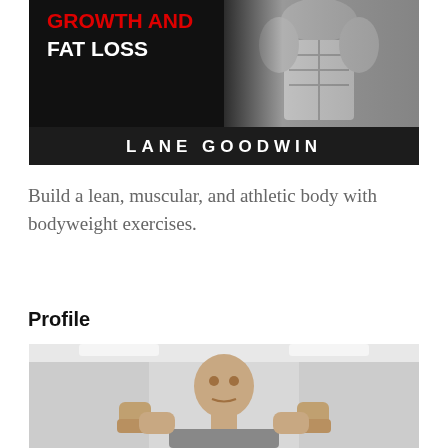[Figure (photo): Book cover with dark background showing muscular torso on right, title text 'GROWTH AND FAT LOSS' in red and white on left, author name 'LANE GOODWIN' in white bold text on dark bottom bar]
Build a lean, muscular, and athletic body with bodyweight exercises.
Profile
[Figure (photo): Photo of a man posing with fists raised, taken in what appears to be a gym or office environment, black and white or low color]